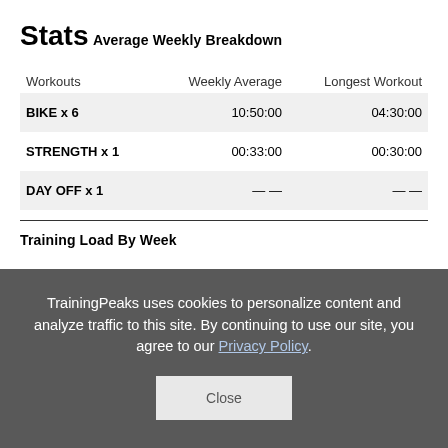Stats
Average Weekly Breakdown
| Workouts | Weekly Average | Longest Workout |
| --- | --- | --- |
| BIKE x 6 | 10:50:00 | 04:30:00 |
| STRENGTH x 1 | 00:33:00 | 00:30:00 |
| DAY OFF x 1 | — — | — — |
Training Load By Week
TrainingPeaks uses cookies to personalize content and analyze traffic to this site. By continuing to use our site, you agree to our Privacy Policy.
Close